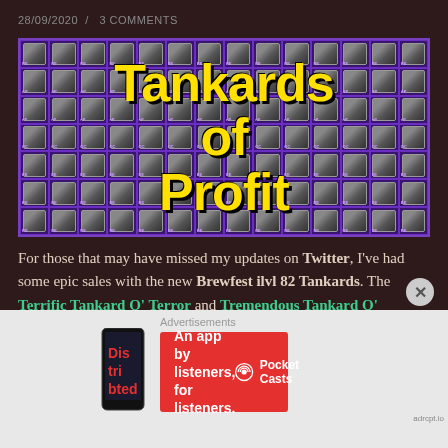28/09/2020 / 3 COMMENTS
[Figure (illustration): Grid of tankard game items with large yellow bold text overlay reading 'Tankards of Profit' on purple background]
For those that may have missed my updates on Twitter, I've had some epic sales with the new Brewfest ilvl 82 Tankards. The Terrific Tankard O' Terror and Tremendous Tankard O' Terror have proven to be very profitable on certain realms. I emphasise certain, as I believe this market works best on a
[Figure (infographic): Advertisement banner: 'An app by listeners, for listeners.' with Pocket Casts branding on red background]